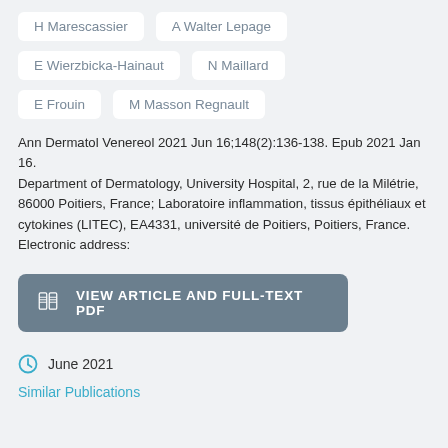H Marescassier
A Walter Lepage
E Wierzbicka-Hainaut
N Maillard
E Frouin
M Masson Regnault
Ann Dermatol Venereol 2021 Jun 16;148(2):136-138. Epub 2021 Jan 16.
Department of Dermatology, University Hospital, 2, rue de la Milétrie, 86000 Poitiers, France; Laboratoire inflammation, tissus épithéliaux et cytokines (LITEC), EA4331, université de Poitiers, Poitiers, France.
Electronic address:
[Figure (other): Button labeled VIEW ARTICLE AND FULL-TEXT PDF with a book/document icon on a grey-blue background]
June 2021
Similar Publications